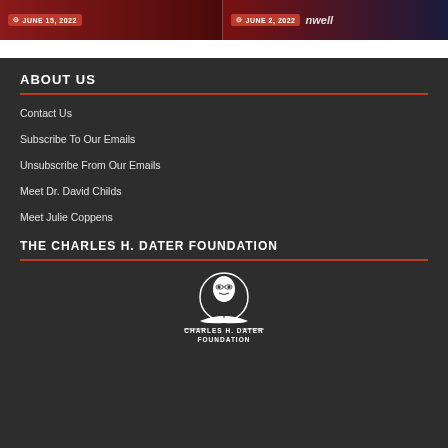[Figure (photo): Two image thumbnails side by side with date badges: left shows JUNE 15, 2022, right shows JUNE 2, 2022 with nwell logo]
ABOUT US
Contact Us
Subscribe To Our Emails
Unsubscribe From Our Emails
Meet Dr. David Childs
Meet Julie Coppens
THE CHARLES H. DATER FOUNDATION
[Figure (logo): Charles H. Dater Foundation logo with portrait illustration and text]